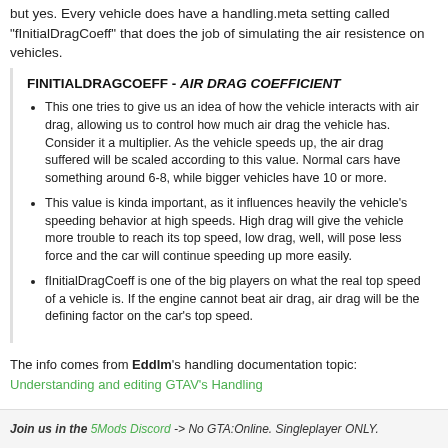but yes. Every vehicle does have a handling.meta setting called "fInitialDragCoeff" that does the job of simulating the air resistence on vehicles.
FINITIALDRAGCOEFF - AIR DRAG COEFFICIENT
This one tries to give us an idea of how the vehicle interacts with air drag, allowing us to control how much air drag the vehicle has. Consider it a multiplier. As the vehicle speeds up, the air drag suffered will be scaled according to this value. Normal cars have something around 6-8, while bigger vehicles have 10 or more.
This value is kinda important, as it influences heavily the vehicle's speeding behavior at high speeds. High drag will give the vehicle more trouble to reach its top speed, low drag, well, will pose less force and the car will continue speeding up more easily.
fInitialDragCoeff is one of the big players on what the real top speed of a vehicle is. If the engine cannot beat air drag, air drag will be the defining factor on the car's top speed.
The info comes from Eddlm's handling documentation topic: Understanding and editing GTAV's Handling
Join us in the 5Mods Discord -> No GTA:Online. Singleplayer ONLY.